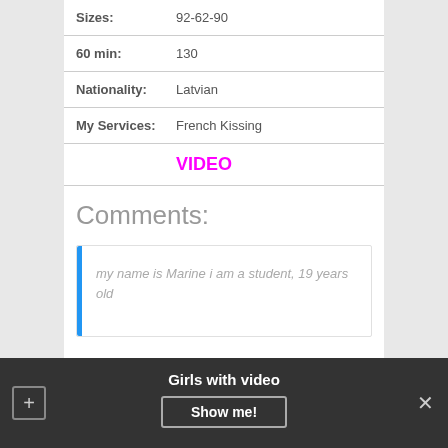| Sizes: | 92-62-90 |
| 60 min: | 130 |
| Nationality: | Latvian |
| My Services: | French Kissing |
VIDEO
Comments:
my name is Marine i am a student, 19 years old
Girls with video  Show me!